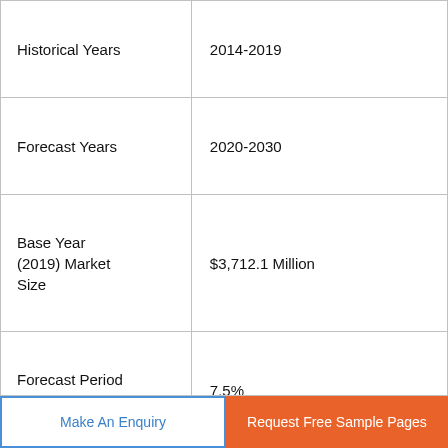|  |  |
| --- | --- |
| Historical Years | 2014-2019 |
| Forecast Years | 2020-2030 |
| Base Year (2019) Market Size | $3,712.1 Million |
| Forecast Period CAGR | 7.5% |
|  | Market Trends, Revenue Estimation and Forecast, Segmentation Analysis, Regional and Country... |
Make An Enquiry
Request Free Sample Pages